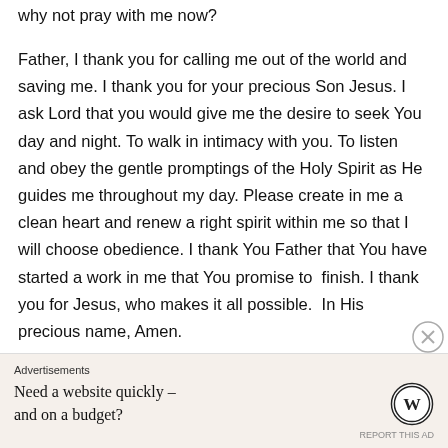why not pray with me now?
Father, I thank you for calling me out of the world and saving me. I thank you for your precious Son Jesus. I ask Lord that you would give me the desire to seek You day and night. To walk in intimacy with you. To listen and obey the gentle promptings of the Holy Spirit as He guides me throughout my day. Please create in me a clean heart and renew a right spirit within me so that I will choose obedience. I thank You Father that You have started a work in me that You promise to  finish. I thank you for Jesus, who makes it all possible.  In His precious name, Amen.
Advertisements
Need a website quickly – and on a budget?